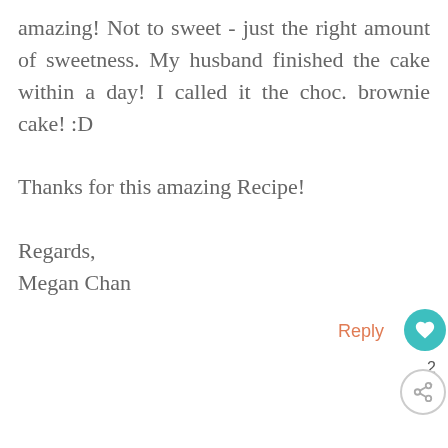amazing! Not to sweet - just the right amount of sweetness. My husband finished the cake within a day! I called it the choc. brownie cake! :D

Thanks for this amazing Recipe!

Regards,
Megan Chan
Reply
Christine Ho
AUGUST 29, 2014 AT
Hi Megan,
Wonderful, I like walnuts too...